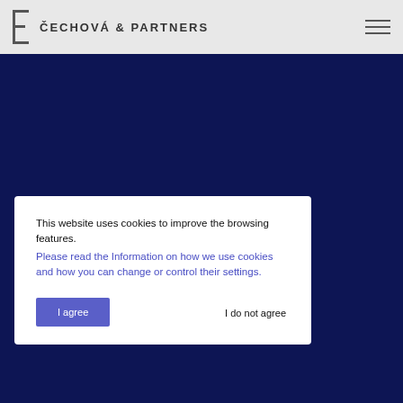[Figure (logo): Čechová & Partners law firm logo with stylized bracket icon and firm name]
This website uses cookies to improve the browsing features. Please read the Information on how we use cookies and how you can change or control their settings.
I agree
I do not agree